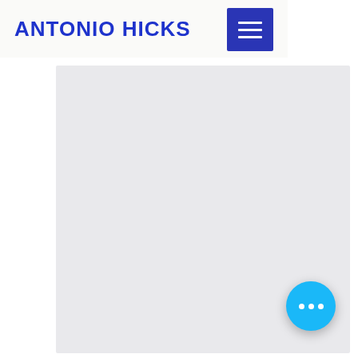ANTONIO HICKS
[Figure (screenshot): Navigation menu hamburger icon button — three white horizontal lines on a dark blue square background]
[Figure (screenshot): Light gray content area / main body placeholder rectangle]
[Figure (screenshot): Floating action button — cyan/blue circle with three white dots (ellipsis)]